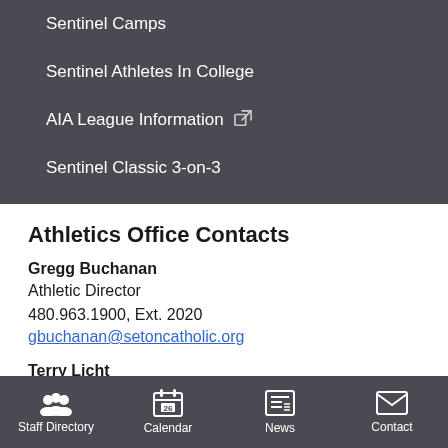Sentinel Camps
Sentinel Athletes In College
AIA League Information
Sentinel Classic 3-on-3
Athletics Office Contacts
Gregg Buchanan
Athletic Director
480.963.1900, Ext. 2020
gbuchanan@setoncatholic.org
Terry Licht
Assistant Athletic Director
480.963.1900, Ext. 2123
Staff Directory  Calendar  News  Contact